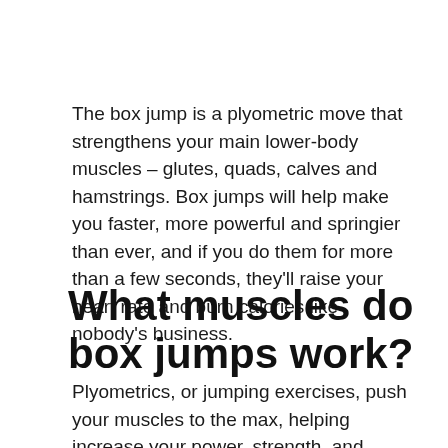The box jump is a plyometric move that strengthens your main lower-body muscles – glutes, quads, calves and hamstrings. Box jumps will help make you faster, more powerful and springier than ever, and if you do them for more than a few seconds, they'll raise your heart rate and burn calories like nobody's business.
What muscles do box jumps work?
Plyometrics, or jumping exercises, push your muscles to the max, helping increase your power, strength, and speed. Box jumps are a quintessential plyometric move where you...